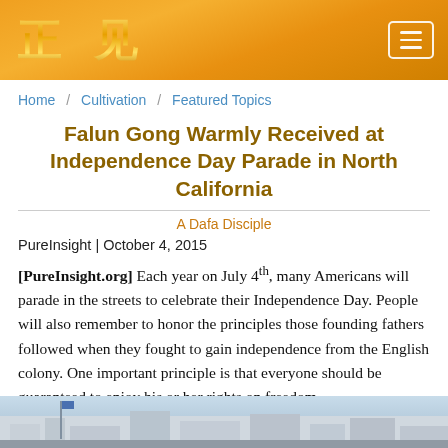正見 [logo with menu icon]
Home / Cultivation / Featured Topics
Falun Gong Warmly Received at Independence Day Parade in North California
A Dafa Disciple
PureInsight | October 4, 2015
[PureInsight.org] Each year on July 4th, many Americans will parade in the streets to celebrate their Independence Day. People will also remember to honor the principles those founding fathers followed when they fought to gain independence from the English colony. One important principle is that everyone should be guaranteed to enjoy his or her rights on freedom.
[Figure (photo): Bottom strip showing outdoor scene with buildings and sky]